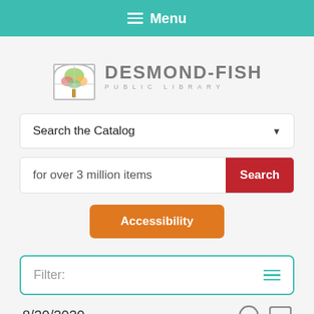Menu
[Figure (logo): Desmond-Fish Public Library logo with a colorful tree inside an arch]
Search the Catalog
for over 3 million items  Search
Accessibility
Filter: